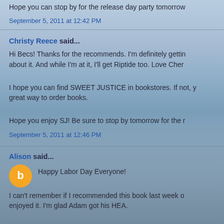Hope you can stop by for the release day party tomorrow
September 5, 2011 at 12:42 PM
Christy Reece said...
Hi Becs! Thanks for the recommends. I'm definitely gettin about it. And while I'm at it, I'll get Riptide too. Love Cher
I hope you can find SWEET JUSTICE in bookstores. If not, y great way to order books.
Hope you enjoy SJ! Be sure to stop by tomorrow for the r
September 5, 2011 at 12:46 PM
Alison said...
Happy Labor Day Everyone!
I can't remember if I recommended this book last week o enjoyed it. I'm glad Adam got his HEA.